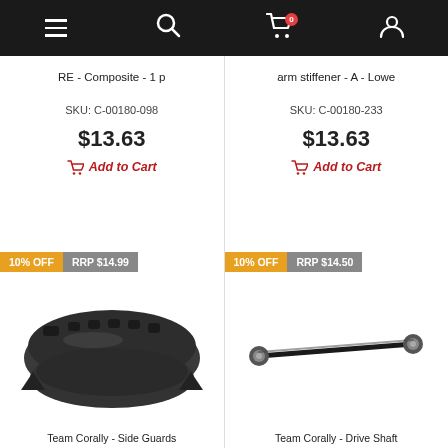Navigation bar with menu, search, cart (0 items), and account icons
RE - Composite - 1 p
SKU: C-00180-098
$13.63
Add to Cart
arm stiffener - A - Lowe
SKU: C-00180-233
$13.63
Add to Cart
10% OFF  RRP $14.99
[Figure (photo): Team Corally side guards product photo - two black plastic curved guard pieces]
Team Corally - Side Guards
10% OFF  RRP $14.50
[Figure (photo): Team Corally drive shaft product photo - a black metal drive shaft rod]
Team Corally - Drive Shaft